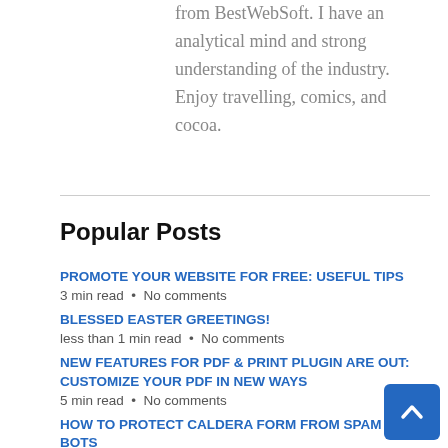from BestWebSoft. I have an analytical mind and strong understanding of the industry. Enjoy travelling, comics, and cocoa.
Popular Posts
PROMOTE YOUR WEBSITE FOR FREE: USEFUL TIPS
3 min read  •  No comments
BLESSED EASTER GREETINGS!
less than 1 min read  •  No comments
NEW FEATURES FOR PDF & PRINT PLUGIN ARE OUT: CUSTOMIZE YOUR PDF IN NEW WAYS
5 min read  •  No comments
HOW TO PROTECT CALDERA FORM FROM SPAM AND BOTS
4 min read  •  No comments